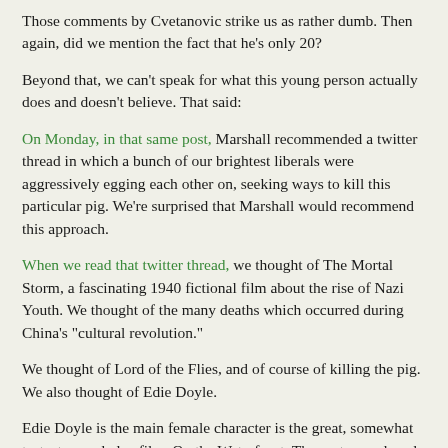Those comments by Cvetanovic strike us as rather dumb. Then again, did we mention the fact that he's only 20?
Beyond that, we can't speak for what this young person actually does and doesn't believe. That said:
On Monday, in that same post, Marshall recommended a twitter thread in which a bunch of our brightest liberals were aggressively egging each other on, seeking ways to kill this particular pig. We're surprised that Marshall would recommend this approach.
When we read that twitter thread, we thought of The Mortal Storm, a fascinating 1940 fictional film about the rise of Nazi Youth. We thought of the many deaths which occurred during China's "cultural revolution."
We thought of Lord of the Flies, and of course of killing the pig. We also thought of Edie Doyle.
Edie Doyle is the main female character is the great, somewhat testosterone-laden film, On the Waterfront. The part was played by Eva Marie Saint in Saint's first film role.